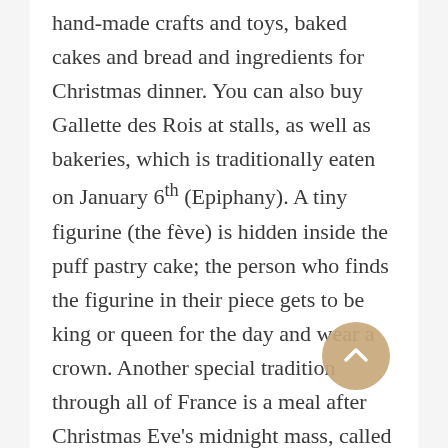hand-made crafts and toys, baked cakes and bread and ingredients for Christmas dinner. You can also buy Gallette des Rois at stalls, as well as bakeries, which is traditionally eaten on January 6th (Epiphany). A tiny figurine (the fève) is hidden inside the puff pastry cake; the person who finds the figurine in their piece gets to be king or queen for the day and wear a crown. Another special tradition through all of France is a meal after Christmas Eve's midnight mass, called Réveillon. Specifically in Brittany, the traditional dish for this occasion is